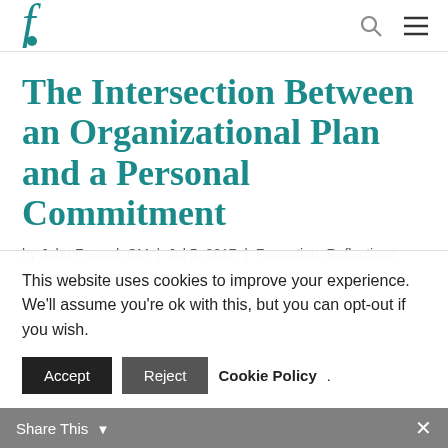f (logo) | search icon | menu icon
The Intersection Between an Organizational Plan and a Personal Commitment
by John Freund, CM | Jul 5, 2017 | Formation, Reflections, Systemic change | 1 comment
This website uses cookies to improve your experience. We'll assume you're ok with this, but you can opt-out if you wish.
Accept | Reject | Cookie Policy
Share This ×